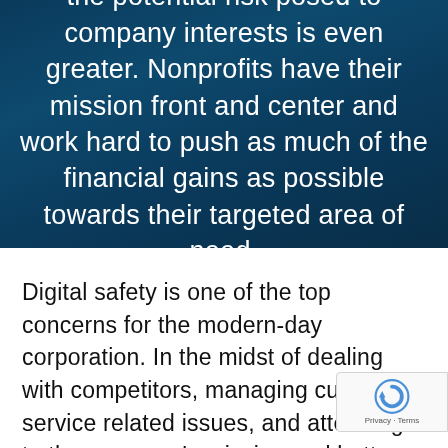the potential risk posed to company interests is even greater. Nonprofits have their mission front and center and work hard to push as much of the financial gains as possible towards their targeted area of need.
Digital safety is one of the top concerns for the modern-day corporation. In the midst of dealing with competitors, managing customer service related issues, and attending to the company's mission and bottom line, a digital security